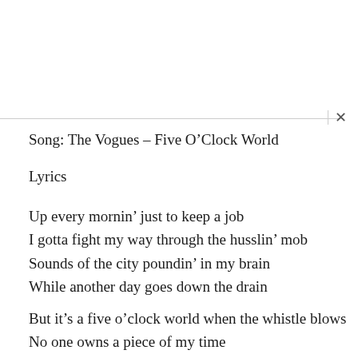Song: The Vogues – Five O'Clock World
Lyrics
Up every mornin' just to keep a job
I gotta fight my way through the husslin' mob
Sounds of the city poundin' in my brain
While another day goes down the drain
But it's a five o'clock world when the whistle blows
No one owns a piece of my time